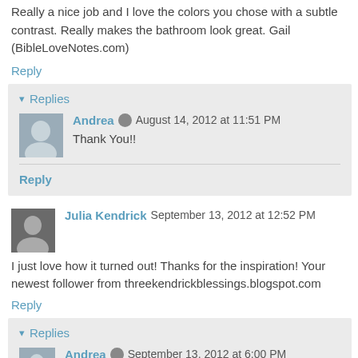Really a nice job and I love the colors you chose with a subtle contrast. Really makes the bathroom look great. Gail (BibleLoveNotes.com)
Reply
Replies
Andrea  August 14, 2012 at 11:51 PM
Thank You!!
Reply
Julia Kendrick  September 13, 2012 at 12:52 PM
I just love how it turned out! Thanks for the inspiration! Your newest follower from threekendrickblessings.blogspot.com
Reply
Replies
Andrea  September 13, 2012 at 6:00 PM